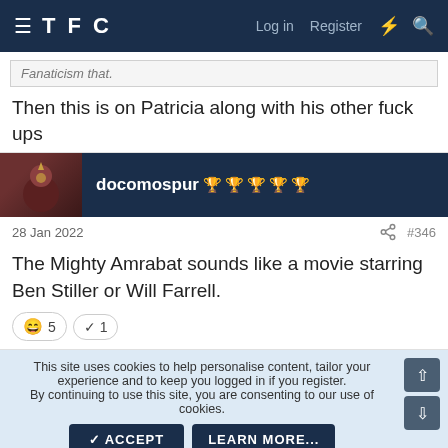TFC — Log in  Register
Fanaticism that.
Then this is on Patricia along with his other fuck ups
docomospur 🏆🏆🏆🏆🏆
28 Jan 2022  #346
The Mighty Amrabat sounds like a movie starring Ben Stiller or Will Farrell.
😄 5  ✓ 1
This site uses cookies to help personalise content, tailor your experience and to keep you logged in if you register.
By continuing to use this site, you are consenting to our use of cookies.